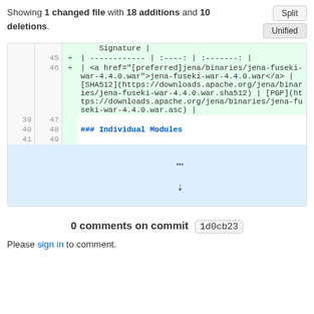Showing 1 changed file with 18 additions and 10 deletions.
[Figure (screenshot): GitHub diff view showing added lines 45-46 with markdown table content and lines 39-41/47-49 with normal content including ### Individual Modules heading, and an expand row at the bottom.]
0 comments on commit 1d0cb23
Please sign in to comment.